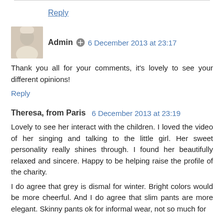Reply
Admin  6 December 2013 at 23:17
Thank you all for your comments, it's lovely to see your different opinions!
Reply
Theresa, from Paris  6 December 2013 at 23:19
Lovely to see her interact with the children. I loved the video of her singing and talking to the little girl. Her sweet personality really shines through. I found her beautifully relaxed and sincere. Happy to be helping raise the profile of the charity.
I do agree that grey is dismal for winter. Bright colors would be more cheerful. And I do agree that slim pants are more elegant. Skinny pants ok for informal wear, not so much for